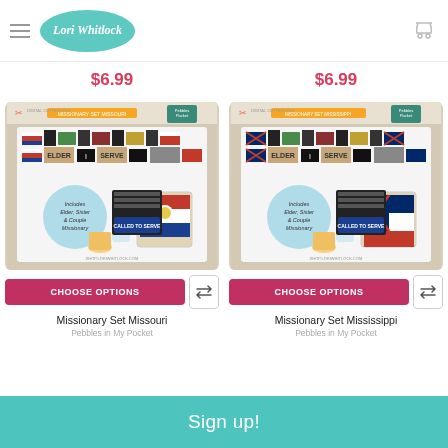Lori Whitlock
$6.99
$6.99
[Figure (photo): Missionary Set Missouri product packaging — digital cutting file with Missouri flags, banners, and party supplies]
CHOOSE OPTIONS
Missionary Set Missouri
Pebbles in My Pocket
[Figure (photo): Missionary Set Mississippi product packaging — digital cutting file with Mississippi flags, banners, and party supplies]
CHOOSE OPTIONS
Missionary Set Mississippi
Pebbles in My Pocket
Sign up!